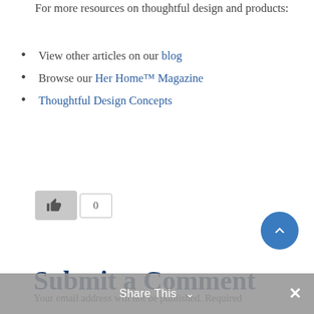For more resources on thoughtful design and products:
View other articles on our blog
Browse our Her Home™ Magazine
Thoughtful Design Concepts
[Figure (other): Like button with thumbs up icon and a count box showing 0]
[Figure (other): Scroll to top button, circular blue button with upward chevron arrow]
Submit a Comment
Your email address will not be published. Required
Share This ×